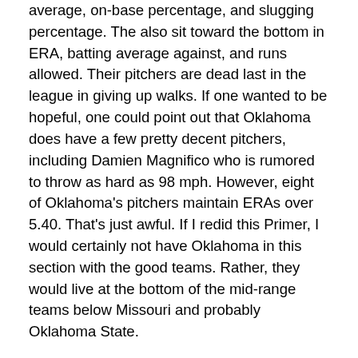average, on-base percentage, and slugging percentage. The also sit toward the bottom in ERA, batting average against, and runs allowed. Their pitchers are dead last in the league in giving up walks. If one wanted to be hopeful, one could point out that Oklahoma does have a few pretty decent pitchers, including Damien Magnifico who is rumored to throw as hard as 98 mph. However, eight of Oklahoma's pitchers maintain ERAs over 5.40. That's just awful. If I redid this Primer, I would certainly not have Oklahoma in this section with the good teams. Rather, they would live at the bottom of the mid-range teams below Missouri and probably Oklahoma State.
The University of Texas, on the other hand, has only been a mild disappointment in baseball this year. Way to go, Horns! Augie Garrido and company had a pretty